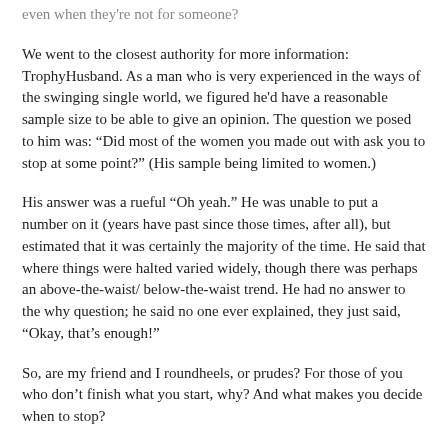even when they're not for someone?
We went to the closest authority for more information: TrophyHusband. As a man who is very experienced in the ways of the swinging single world, we figured he'd have a reasonable sample size to be able to give an opinion. The question we posed to him was: “Did most of the women you made out with ask you to stop at some point?” (His sample being limited to women.)
His answer was a rueful “Oh yeah.” He was unable to put a number on it (years have past since those times, after all), but estimated that it was certainly the majority of the time. He said that where things were halted varied widely, though there was perhaps an above-the-waist/ below-the-waist trend. He had no answer to the why question; he said no one ever explained, they just said, “Okay, that’s enough!”
So, are my friend and I roundheels, or prudes? For those of you who don’t finish what you start, why? And what makes you decide when to stop?